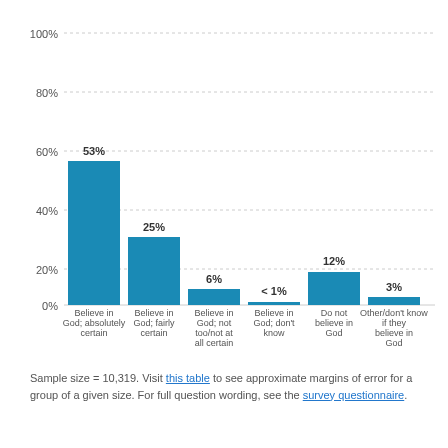[Figure (bar-chart): ]
Sample size = 10,319. Visit this table to see approximate margins of error for a group of a given size. For full question wording, see the survey questionnaire.